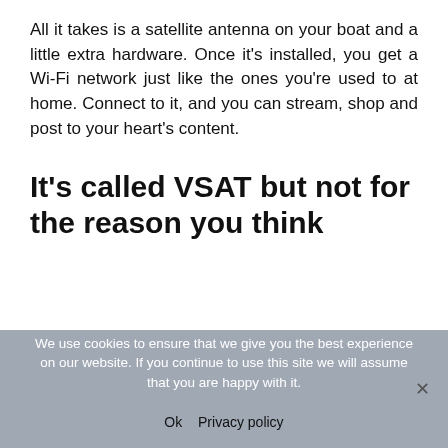All it takes is a satellite antenna on your boat and a little extra hardware. Once it's installed, you get a Wi-Fi network just like the ones you're used to at home. Connect to it, and you can stream, shop and post to your heart's content.
It's called VSAT but not for the reason you think
We use cookies to ensure that we give you the best experience on our website. If you continue to use this site we will assume that you are happy with it.
Ok   Privacy policy